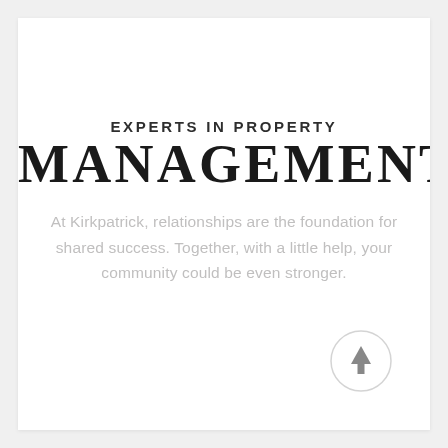EXPERTS IN PROPERTY
MANAGEMENT
At Kirkpatrick, relationships are the foundation for shared success. Together, with a little help, your community could be even stronger.
[Figure (illustration): A circular button with an upward-pointing arrow icon]